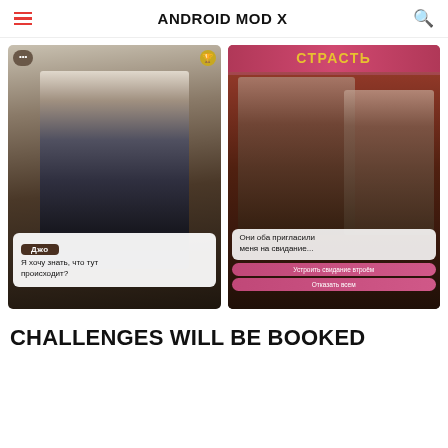ANDROID MOD X
[Figure (screenshot): Left screenshot of a visual novel game showing a male character in black coat with white hair. Dialog box shows character name 'Джо' and text 'Я хочу знать, что тут происходит?']
[Figure (screenshot): Right screenshot of a visual novel game titled 'СТРАСТЬ' showing three characters. Dialog box shows text 'Они оба пригласили меня на свидание...' with two buttons: 'Устроить свидание втроём' and 'Отказать всем']
CHALLENGES WILL BE BOOKED